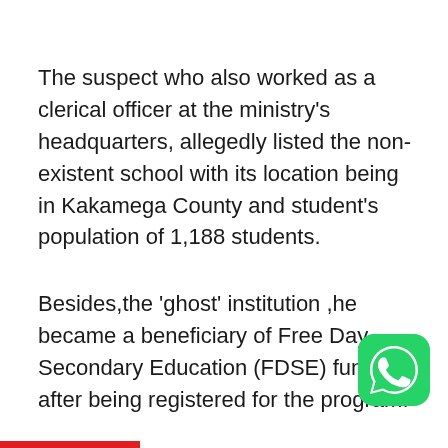The suspect who also worked as a clerical officer at the ministry's headquarters, allegedly listed the non-existent school with its location being in Kakamega County and student's population of 1,188 students.
Besides,the 'ghost' institution ,he became a beneficiary of Free Day Secondary Education (FDSE) funds after being registered for the program.
[Figure (logo): WhatsApp logo icon — green rounded square with white phone handset]